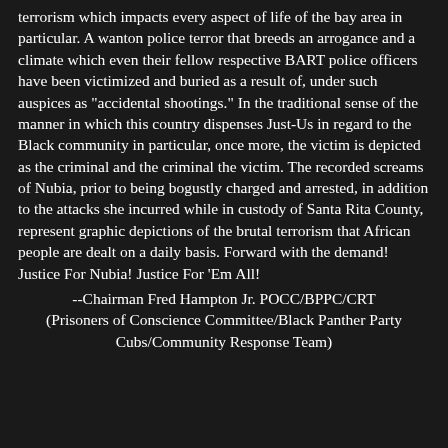terrorism which impacts every aspect of life of the bay area in particular. A wanton police terror that breeds an arrogance and a climate which even their fellow respective BART police officers have been victimized and buried as a result of, under such auspices as "accidental shootings." In the traditional sense of the manner in which this country dispenses Just-Us in regard to the Black community in particular, once more, the victim is depicted as the criminal and the criminal the victim. The recorded screams of Nubia, prior to being bogustly charged and arrested, in addition to the attacks she incurred while in custody of Santa Rita County, represent graphic depictions of the brutal terrorism that African people are dealt on a daily basis. Forward with the demand! Justice For Nubia! Justice For 'Em All!
--Chairman Fred Hampton Jr. POCC/BPPC/CRT (Prisoners of Conscience Committee/Black Panther Party Cubs/Community Response Team)